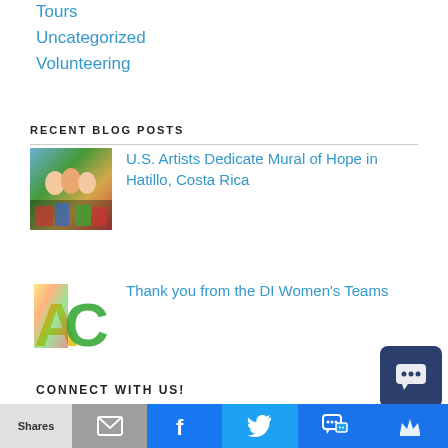Tours
Uncategorized
Volunteering
RECENT BLOG POSTS
[Figure (photo): People standing in front of a colorful mural in Hatillo, Costa Rica]
U.S. Artists Dedicate Mural of Hope in Hatillo, Costa Rica
[Figure (logo): AC logo with colorful photography letters]
Thank you from the DI Women's Teams
CONNECT WITH US!
Shares | email | facebook | twitter | chat | crown